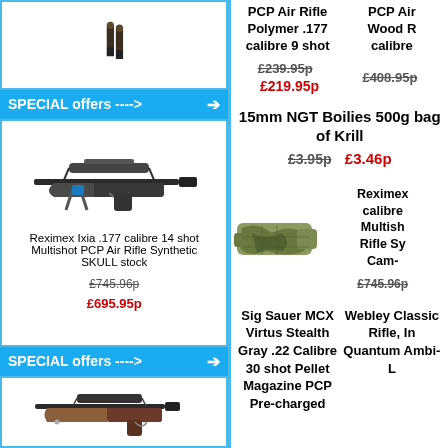[Figure (photo): Small image of bullets/pellets silhouette]
SPECIAL offers ---->
[Figure (photo): Reximex Ixia .177 calibre 14 shot Multishot PCP Air Rifle with scope, Synthetic SKULL stock]
Reximex Ixia .177 calibre 14 shot Multishot PCP Air Rifle Synthetic SKULL stock
£745.96p £695.95p
SPECIAL offers ---->
[Figure (photo): Rifle with wooden stock and scope]
PCP Air Rifle Polymer .177 calibre 9 shot
£239.95p  £219.95p
PCP Air Wood R calibre
£408.95p
15mm NGT Boilies 500g bag of Krill
£3.95p  £3.46p
[Figure (photo): Camo patterned rifle stock]
Reximex calibre Multishot Rifle Sy Cam-
£745.96p
Sig Sauer MCX Virtus Stealth Gray .22 Calibre 30 shot Pellet Magazine PCP Pre-charged
Webley Classic Rifle, In Quantum Ambi-L